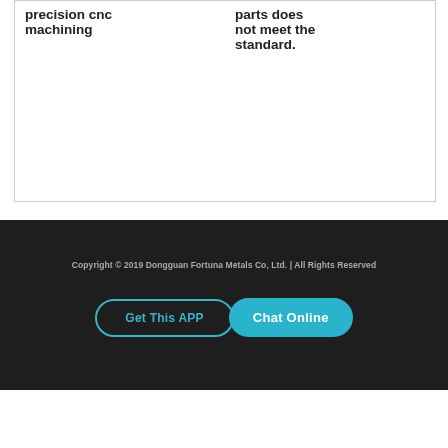| precision cnc machining | parts does not meet the standard. |
Copyright © 2019 Dongguan Fortuna Metals Co, Ltd. | All Rights Reserved